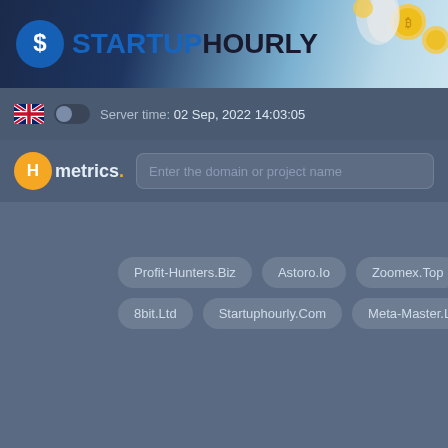[Figure (logo): StartupHourly logo banner with blue logo icon, bold text STARTUPHOURLY, and coin decorations on right]
Server time: 02 Sep, 2022 14:03:05
[Figure (logo): Hmetrics logo - orange circle with H, followed by Hmetrics. text in white with orange dot]
Enter the domain or project name
Profit-Hunters.Biz
Astoro.Io
Zoomex.Top
8bit.Ltd
8bit.Ltd
Startuphourly.Com
Meta-Master.Ltd
Hu…
Huge.Investments
Medica…